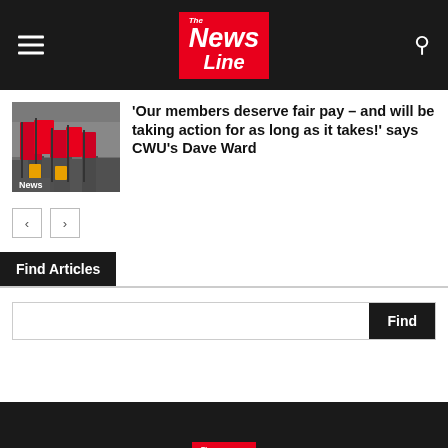News Line
[Figure (photo): People holding red union flags/banners at a rally or strike action]
'Our members deserve fair pay – and will be taking action for as long as it takes!' says CWU's Dave Ward
Find Articles
News Line footer with logo